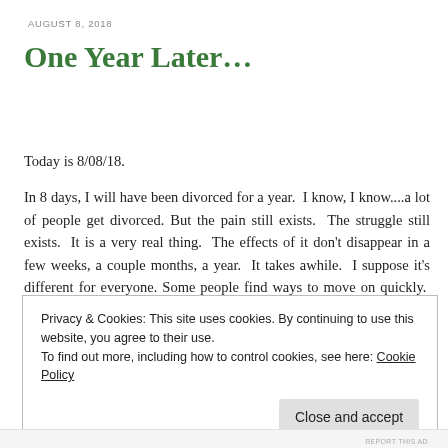AUGUST 8, 2018
One Year Later…
Today is 8/08/18.
In 8 days, I will have been divorced for a year.  I know, I know....a lot of people get divorced. But the pain still exists.  The struggle still exists.  It is a very real thing.  The effects of it don't disappear in a few weeks, a couple months, a year.  It takes awhile.  I suppose it's different for everyone. Some people find ways to move on quickly.  Some people take time.  Maybe I'm somewhere in between.
Privacy & Cookies: This site uses cookies. By continuing to use this website, you agree to their use.
To find out more, including how to control cookies, see here: Cookie Policy
REPORT THIS AD